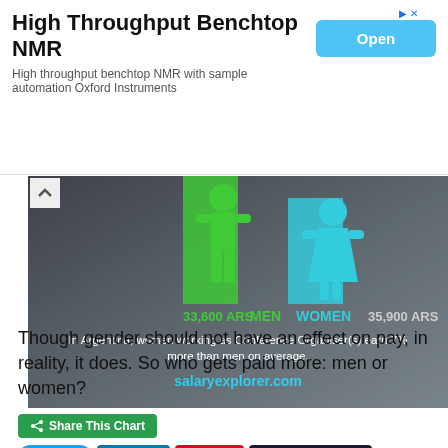High Throughput Benchtop NMR
High throughput benchtop NMR with sample automation Oxford Instruments
[Figure (infographic): Gender pay gap infographic for Conference Organiser in Argentina. Green male figure (33,600 ARS) and cyan female figure (35,900 ARS). Text: In Argentina, women working as Conference Organiser(s) earn 7% more than men on average. salaryexplorer.com. Rotated label: Average Monthly Salary.]
Share This Chart
Tweet  Share  Save  Get Chart Link
Though gender should not have an effect on pay, in reality, it does. So who gets paid more: men or women?